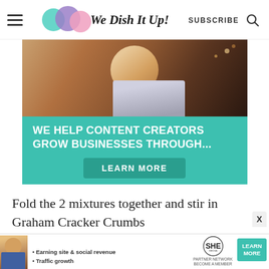We Dish It Up! | SUBSCRIBE
[Figure (infographic): Advertisement banner for content creator business growth service. Top half shows a smiling woman with curly hair and glasses using a tablet in a cafe setting. Bottom teal/green section reads 'WE HELP CONTENT CREATORS GROW BUSINESSES THROUGH...' with a 'LEARN MORE' button.]
Fold the 2 mixtures together and stir in Graham Cracker Crumbs
[Figure (infographic): SHE Partner Network bottom advertisement banner. Shows a woman's photo on the left, bullet points 'Earning site & social revenue' and 'Traffic growth', SHE media logo, and a teal 'LEARN MORE / BECOME A MEMBER' button.]